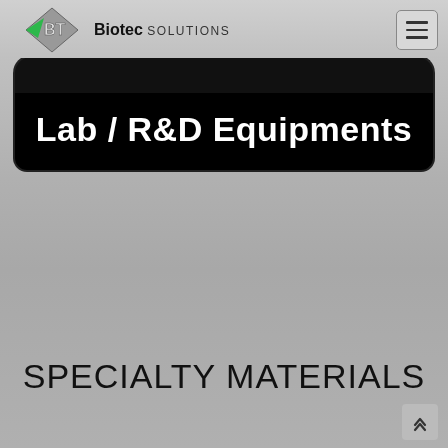Biotec SOLUTIONS
Lab / R&D Equipments
SPECIALTY MATERIALS